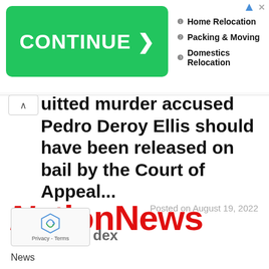[Figure (screenshot): Green CONTINUE button advertisement with ad links: Home Relocation, Packing & Moving, Domestics Relocation]
quitted murder accused Pedro Deroy Ellis should have been released on bail by the Court of Appeal...
Posted on August 19, 2022
[Figure (logo): NationNews logo in red italic/bold font]
dex
News